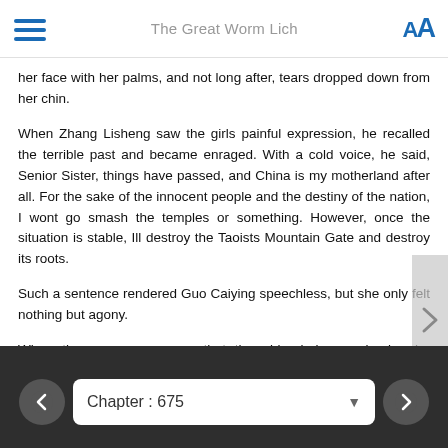The Great Worm Lich
her face with her palms, and not long after, tears dropped down from her chin.
When Zhang Lisheng saw the girls painful expression, he recalled the terrible past and became enraged. With a cold voice, he said, Senior Sister, things have passed, and China is my motherland after all. For the sake of the innocent people and the destiny of the nation, I wont go smash the temples or something. However, once the situation is stable, Ill destroy the Taoists Mountain Gate and destroy its roots.
Such a sentence rendered Guo Caiying speechless, but she only felt nothing but agony.
When the young man saw that the girl cried even louder, he gradually calmed his rage down and breathed a long sigh. He walked up and gently patted Guo Caiyings shoulder as he said softly, Stop crying, Senior Sister. Look, arent I unscathed in one
Chapter : 675